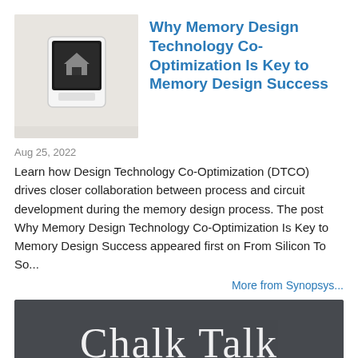[Figure (photo): Thumbnail photo of a white wall-mounted smart home device with a small screen showing a home icon]
Why Memory Design Technology Co-Optimization Is Key to Memory Design Success
Aug 25, 2022
Learn how Design Technology Co-Optimization (DTCO) drives closer collaboration between process and circuit development during the memory design process. The post Why Memory Design Technology Co-Optimization Is Key to Memory Design Success appeared first on From Silicon To So...
More from Synopsys...
[Figure (photo): Dark chalkboard background image with white chalk-style text reading 'Chalk Talk with Amelia Dalton']